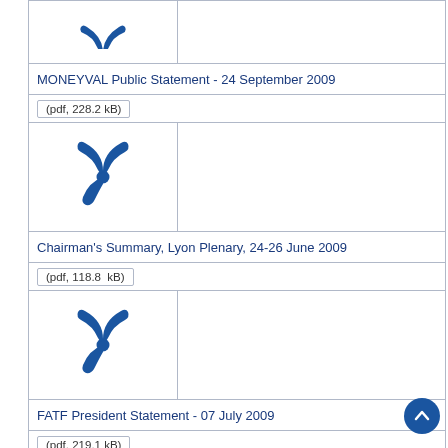[Figure (other): PDF icon (blue trident/propeller shape) partially visible at top]
MONEYVAL Public Statement - 24 September 2009
(pdf, 228.2 kB)
[Figure (other): PDF icon (blue trident/propeller shape)]
Chairman's Summary, Lyon Plenary, 24-26 June 2009
(pdf, 118.8  kB)
[Figure (other): PDF icon (blue trident/propeller shape)]
FATF President Statement - 07 July 2009
(pdf, 219.1 kB)
[Figure (other): PDF icon (blue trident/propeller shape)]
Public Statement - 25 February 2009
(pdf, 337.8 kB)